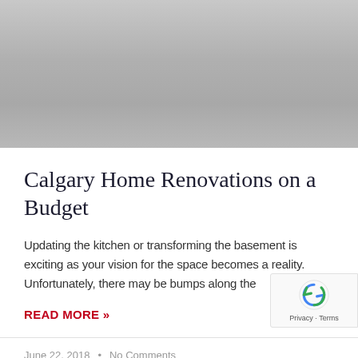[Figure (photo): Gray placeholder image area at top of blog post card]
Calgary Home Renovations on a Budget
Updating the kitchen or transforming the basement is exciting as your vision for the space becomes a reality. Unfortunately, there may be bumps along the
READ MORE »
June 22, 2018  •  No Comments
[Figure (photo): Partial image visible at bottom of page]